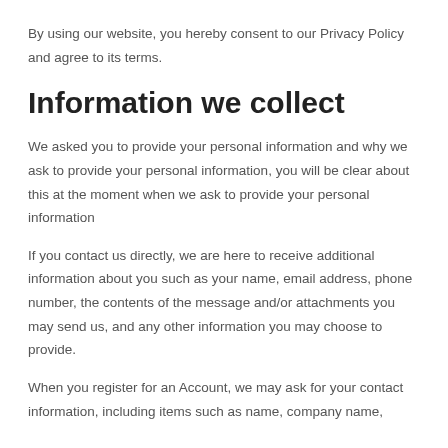By using our website, you hereby consent to our Privacy Policy and agree to its terms.
Information we collect
We asked you to provide your personal information and why we ask to provide your personal information, you will be clear about this at the moment when we ask to provide your personal information
If you contact us directly, we are here to receive additional information about you such as your name, email address, phone number, the contents of the message and/or attachments you may send us, and any other information you may choose to provide.
When you register for an Account, we may ask for your contact information, including items such as name, company name,